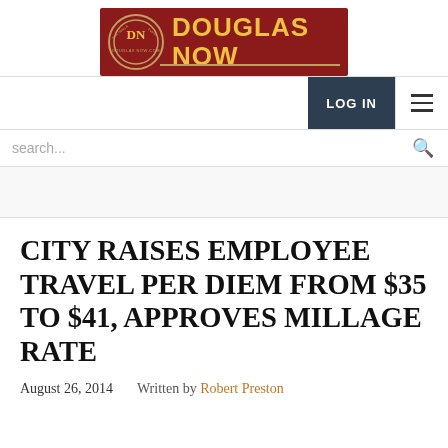[Figure (logo): Douglas Now logo banner — dark red background with circular DN emblem and bold yellow 'DOUGLAS NOW' text]
[Figure (screenshot): Navigation bar with LOG IN button (dark navy) and hamburger menu icon on right]
[Figure (screenshot): Search bar with placeholder text 'search...' and magnifying glass icon]
CITY RAISES EMPLOYEE TRAVEL PER DIEM FROM $35 TO $41, APPROVES MILLAGE RATE
August 26, 2014    Written by Robert Preston